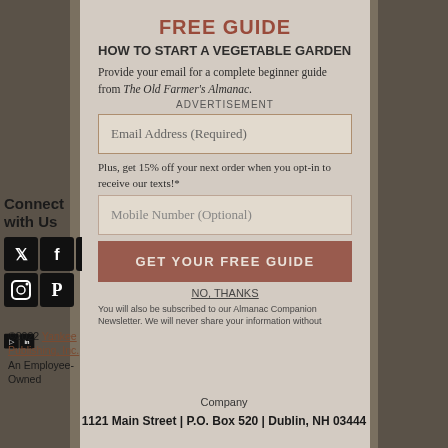FREE GUIDE
HOW TO START A VEGETABLE GARDEN
Provide your email for a complete beginner guide from The Old Farmer's Almanac.
ADVERTISEMENT
Email Address (Required)
Plus, get 15% off your next order when you opt-in to receive our texts!*
Mobile Number (Optional)
GET YOUR FREE GUIDE
NO, THANKS
You will also be subscribed to our Almanac Companion Newsletter. We will never share your information without
Connect with Us
[Figure (other): Social media icons: Twitter, Facebook, Instagram, Pinterest, YouTube, LinkedIn]
©2022 Yankee Publishing, Inc. An Employee-Owned Company
1121 Main Street | P.O. Box 520 | Dublin, NH 03444